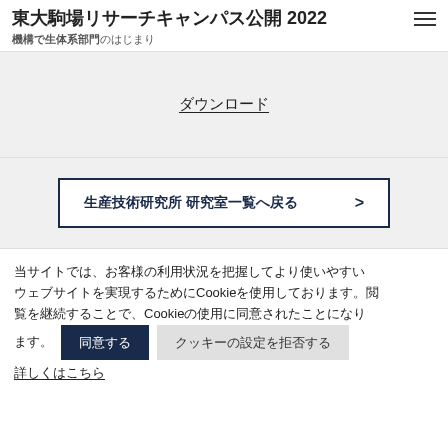東大駒場リサーチキャンパス公開2022 機構で生体系部門のはじまり
ダウンロード
生産技術研究所 研究室一覧へ戻る
当サイトでは、お客様の利用状況を把握してより使いやすいウェブサイトを実現するためにCookieを使用しております。閲覧を継続することで、Cookieの使用に同意されたことになります。
同意する
クッキーの設定を拒否する
詳しくはこちら